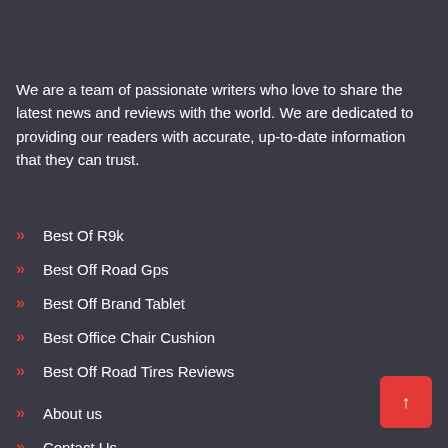We are a team of passionate writers who love to share the latest news and reviews with the world. We are dedicated to providing our readers with accurate, up-to-date information that they can trust.
Best Of R9k
Best Off Road Gps
Best Off Brand Tablet
Best Office Chair Cushion
Best Off Road Tires Reviews
About us
Contact Us